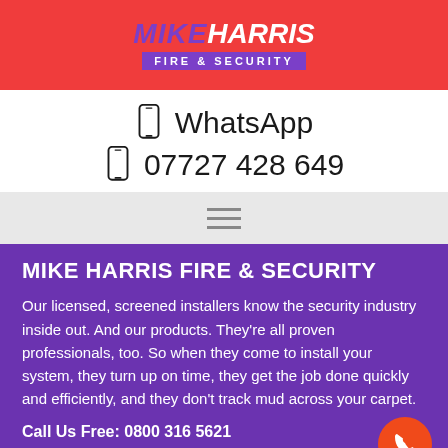[Figure (logo): Mike Harris Fire & Security logo on red banner with purple brand name and white subtitle bar]
WhatsApp
07727 428 649
[Figure (other): Hamburger menu icon (three horizontal lines)]
MIKE HARRIS FIRE & SECURITY
Our licensed, screened installers know the security industry inside out. And our products. They're all proven professionals, too. So when they come to install your system, they turn up on time, they get the job done quickly and efficiently, and they don't track mud across your carpet.
Call Us Free: 0800 316 5621
Call Mobile: 07727 428 649